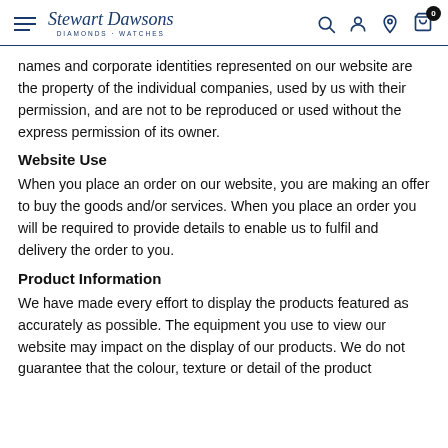Stewart Dawsons — DIAMONDS · WATCHES
names and corporate identities represented on our website are the property of the individual companies, used by us with their permission, and are not to be reproduced or used without the express permission of its owner.
Website Use
When you place an order on our website, you are making an offer to buy the goods and/or services. When you place an order you will be required to provide details to enable us to fulfil and delivery the order to you.
Product Information
We have made every effort to display the products featured as accurately as possible. The equipment you use to view our website may impact on the display of our products. We do not guarantee that the colour, texture or detail of the product